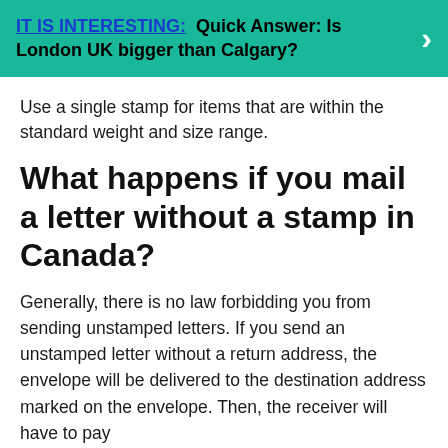[Figure (infographic): Teal/green banner with bold text reading 'IT IS INTERESTING: Quick Answer: Is London UK bigger than Calgary?' with a white right-arrow chevron on the right side.]
Use a single stamp for items that are within the standard weight and size range.
What happens if you mail a letter without a stamp in Canada?
Generally, there is no law forbidding you from sending unstamped letters. If you send an unstamped letter without a return address, the envelope will be delivered to the destination address marked on the envelope. Then, the receiver will have to pay the postage fee.